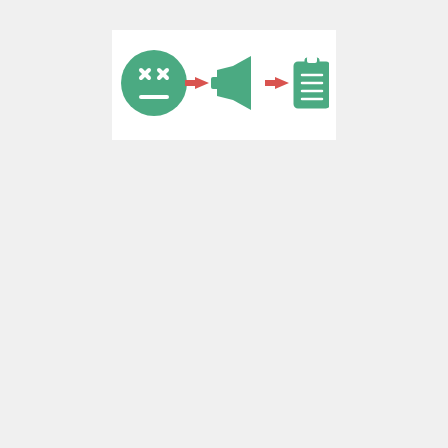[Figure (infographic): A flowchart diagram showing three teal/green icons connected by red arrows: a dead/X-eyed face emoji, followed by a red arrow, then a megaphone/bullhorn icon, followed by another red arrow, then a clipboard with checklist icon.]